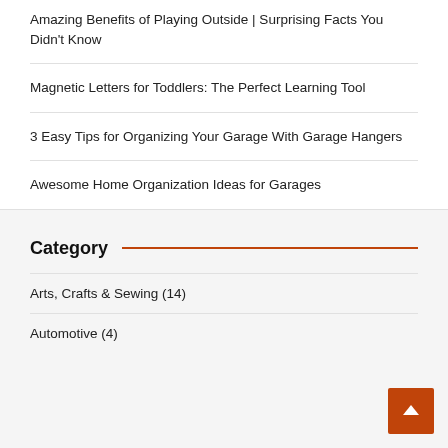Amazing Benefits of Playing Outside | Surprising Facts You Didn't Know
Magnetic Letters for Toddlers: The Perfect Learning Tool
3 Easy Tips for Organizing Your Garage With Garage Hangers
Awesome Home Organization Ideas for Garages
Category
Arts, Crafts & Sewing (14)
Automotive (4)